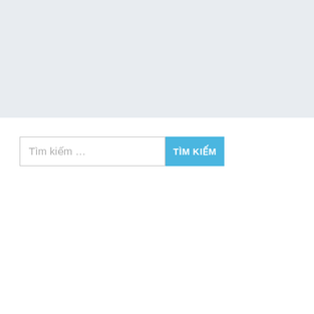[Figure (screenshot): A search bar UI component with a text input field showing placeholder text 'Tìm kiếm ...' and a blue button labeled 'TÌM KIẾM'. The top portion of the page has a light gray background, and the bottom portion is white.]